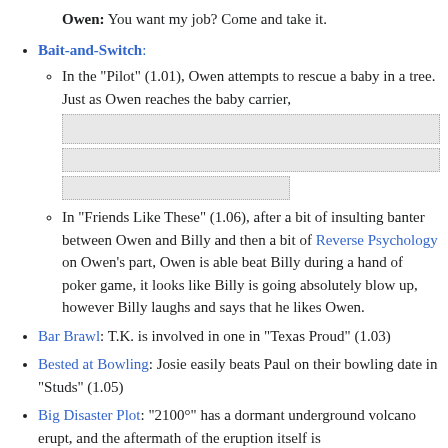Owen: You want my job? Come and take it.
Bait-and-Switch:
In the "Pilot" (1.01), Owen attempts to rescue a baby in a tree. Just as Owen reaches the baby carrier, [redacted text]
In "Friends Like These" (1.06), after a bit of insulting banter between Owen and Billy and then a bit of Reverse Psychology on Owen's part, Owen is able beat Billy during a hand of poker game, it looks like Billy is going absolutely blow up, however Billy laughs and says that he likes Owen.
Bar Brawl: T.K. is involved in one in "Texas Proud" (1.03)
Bested at Bowling: Josie easily beats Paul on their bowling date in "Studs" (1.05)
Big Disaster Plot: "2100°" has a dormant underground volcano erupt, and the aftermath of the eruption itself is